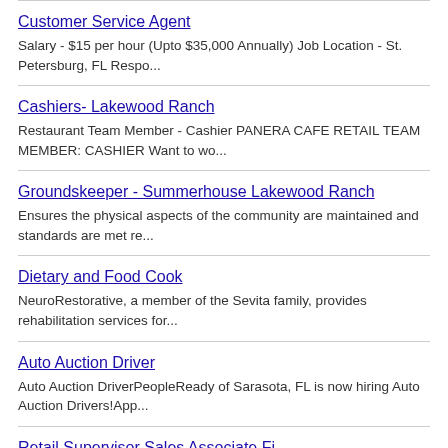Customer Service Agent
Salary - $15 per hour (Upto $35,000 Annually) Job Location - St. Petersburg, FL Respo...
Cashiers- Lakewood Ranch
Restaurant Team Member - Cashier PANERA CAFE RETAIL TEAM MEMBER: CASHIER Want to wo...
Groundskeeper - Summerhouse Lakewood Ranch
Ensures the physical aspects of the community are maintained and standards are met re...
Dietary and Food Cook
NeuroRestorative, a member of the Sevita family, provides rehabilitation services for...
Auto Auction Driver
Auto Auction DriverPeopleReady of Sarasota, FL is now hiring Auto Auction Drivers!App...
Retail Supervisor Sales Associate Fi...